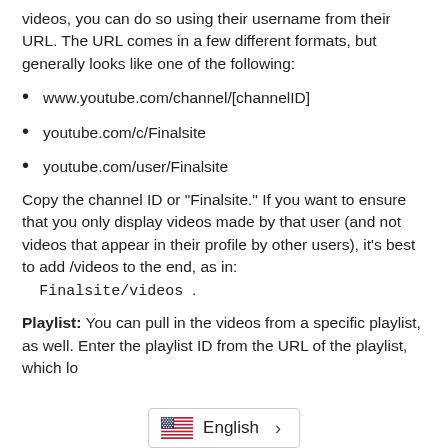videos, you can do so using their username from their URL. The URL comes in a few different formats, but generally looks like one of the following:
www.youtube.com/channel/[channelID]
youtube.com/c/Finalsite
youtube.com/user/Finalsite
Copy the channel ID or "Finalsite." If you want to ensure that you only display videos made by that user (and not videos that appear in their profile by other users), it's best to add /videos to the end, as in: Finalsite/videos .
Playlist: You can pull in the videos from a specific playlist, as well. Enter the playlist ID from the URL of the playlist, which lo... e